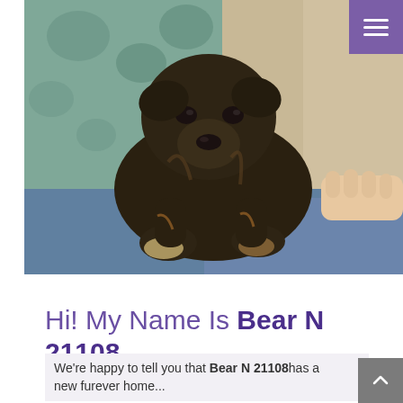[Figure (photo): A dark brindle puppy sitting on a blue exam table at a veterinary or shelter setting, with a person's hand visible beside it. The background shows a teal floral curtain and a beige wall.]
Hi! My Name Is Bear N 21108
We're happy to tell you that Bear N 21108 has a new furever home...